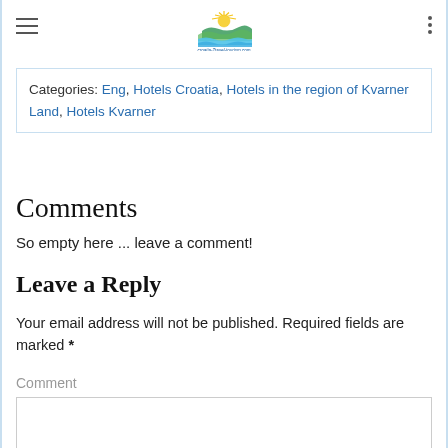[Figure (logo): Croatia Travel tourism website logo with sun and water illustration above text 'croatia-Travel-tourism.com']
Categories: Eng, Hotels Croatia, Hotels in the region of Kvarner Land, Hotels Kvarner
Comments
So empty here ... leave a comment!
Leave a Reply
Your email address will not be published. Required fields are marked *
Comment